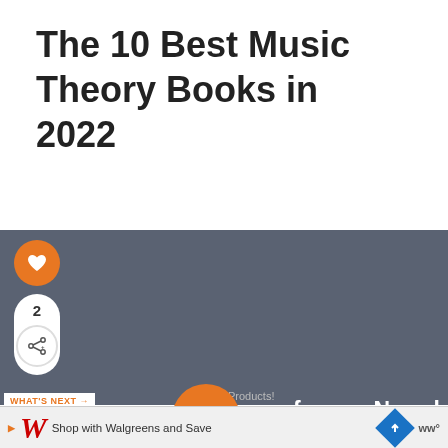The 10 Best Music Theory Books in 2022
[Figure (infographic): Social sharing sidebar with heart/like button (orange circle) and share button with count of 2; dark gray background section]
WHAT'S NEXT → 11 Of The Greatest An...
n up for our Newsletter
Products!
Shop with Walgreens and Save